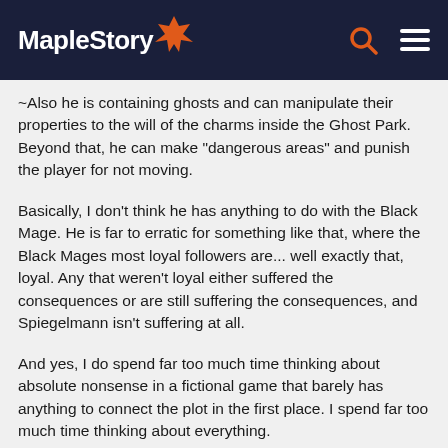MapleStory
~Also he is containing ghosts and can manipulate their properties to the will of the charms inside the Ghost Park. Beyond that, he can make "dangerous areas" and punish the player for not moving.
Basically, I don't think he has anything to do with the Black Mage. He is far to erratic for something like that, where the Black Mages most loyal followers are... well exactly that, loyal. Any that weren't loyal either suffered the consequences or are still suffering the consequences, and Spiegelmann isn't suffering at all.
And yes, I do spend far too much time thinking about absolute nonsense in a fictional game that barely has anything to connect the plot in the first place. I spend far too much time thinking about everything.
[Figure (illustration): Two MapleStory character avatars side by side]